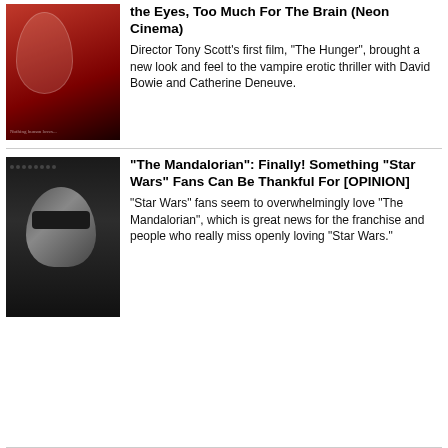[Figure (photo): Movie poster for The Hunger - dark red background with stylized figures]
the Eyes, Too Much For The Brain (Neon Cinema)
Director Tony Scott's first film, "The Hunger", brought a new look and feel to the vampire erotic thriller with David Bowie and Catherine Deneuve.
[Figure (photo): Scene from The Mandalorian showing the Mandalorian in helmet against dark background]
"The Mandalorian": Finally! Something "Star Wars" Fans Can Be Thankful For [OPINION]
"Star Wars" fans seem to overwhelmingly love "The Mandalorian", which is great news for the franchise and people who really miss openly loving "Star Wars."